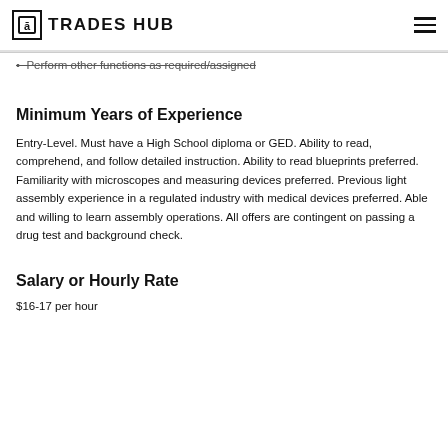TRADES HUB
Perform other functions as required/assigned
Minimum Years of Experience
Entry-Level. Must have a High School diploma or GED. Ability to read, comprehend, and follow detailed instruction. Ability to read blueprints preferred. Familiarity with microscopes and measuring devices preferred. Previous light assembly experience in a regulated industry with medical devices preferred. Able and willing to learn assembly operations. All offers are contingent on passing a drug test and background check.
Salary or Hourly Rate
$16-17 per hour